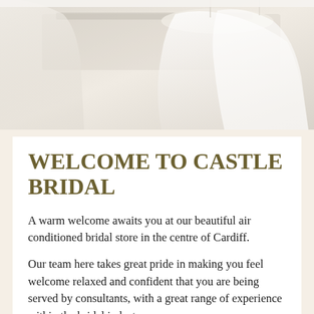[Figure (photo): A soft-focus photograph of white wedding dresses hanging in a bridal store, with a light, airy feel and neutral tones.]
WELCOME TO CASTLE BRIDAL
A warm welcome awaits you at our beautiful air conditioned bridal store in the centre of Cardiff.
Our team here takes great pride in making you feel welcome relaxed and confident that you are being served by consultants, with a great range of experience within the bridal industry.
We are very honoured to have such amazing recommendations from many of our brides and their families, about our customer service and personal touch. With lots of laughter and saying 'yes to the